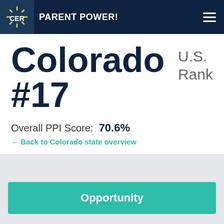PARENT POWER!
Colorado #17
U.S. Rank
Overall PPI Score: 70.6%
← Back to Colorado state overview
Opportunity